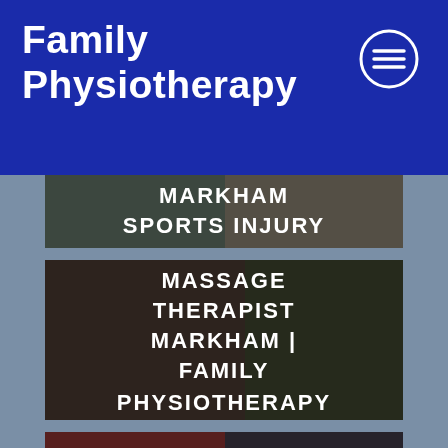Family Physiotherapy
[Figure (screenshot): Mobile website screenshot showing Family Physiotherapy website header with navigation menu icon, and three card images below with titles: MARKHAM SPORTS INJURY, MASSAGE THERAPIST MARKHAM | FAMILY PHYSIOTHERAPY, and DON'T LET HIP (partially visible)]
MARKHAM SPORTS INJURY
MASSAGE THERAPIST MARKHAM | FAMILY PHYSIOTHERAPY
DON'T LET HIP